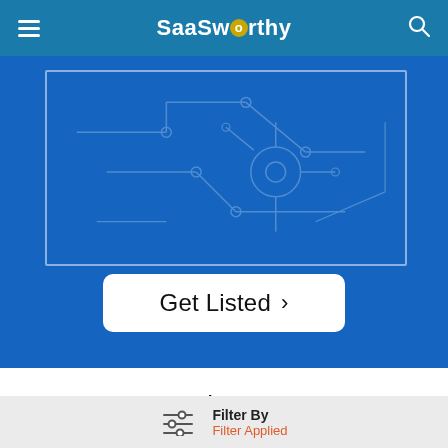SaaSworthy
[Figure (screenshot): Blue hero section with a framed tech circuit board illustration and a 'Get Listed >' button]
About
Home
All Software Categories
SaaS Newsletter
Filter By / Filter Applied